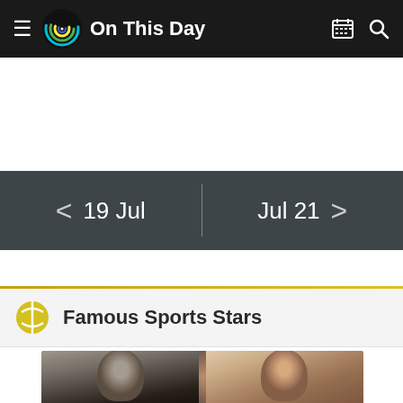On This Day
< 19 Jul | Jul 21 >
Famous Sports Stars
[Figure (photo): Two athlete portrait photos side by side — a black and white photo of a man on the left and a color photo of a smiling man on the right]